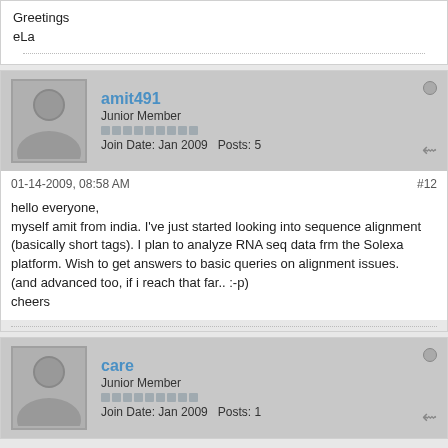Greetings
eLa
amit491
Junior Member
Join Date: Jan 2009  Posts: 5
01-14-2009, 08:58 AM
#12
hello everyone,
myself amit from india. I've just started looking into sequence alignment (basically short tags). I plan to analyze RNA seq data frm the Solexa platform. Wish to get answers to basic queries on alignment issues.
(and advanced too, if i reach that far.. :-p)
cheers
care
Junior Member
Join Date: Jan 2009  Posts: 1